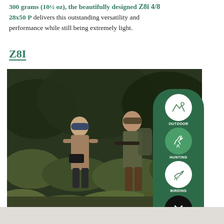300 grams (10½ oz), the beautifully designed Z8i 4/8 28x50 P delivers this outstanding versatility and performance while still being extremely light.
Z8I
[Figure (photo): Two people in outdoor/hunting attire walking through shrubland vegetation. A woman in a blue cap holding binoculars and a man with a backpack holding a rifle. Overlaid on the right side is a green rounded pill-shaped menu with icons for OUTDOOR, HUNTING, BIRDING categories and a close (X) button.]